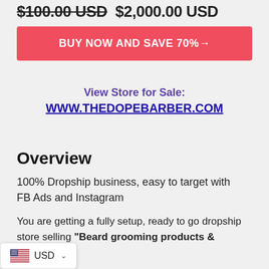$100.00 USD  $2,000.00 USD
BUY NOW AND SAVE 70%→
View Store for Sale:
WWW.THEDOPEBARBER.COM
Overview
100% Dropship business, easy to target with FB Ads and Instagram
You are getting a fully setup, ready to go dropship store selling "Beard grooming products & ". Very Easy to target customers. Run some ads on FB and Instagram and start making